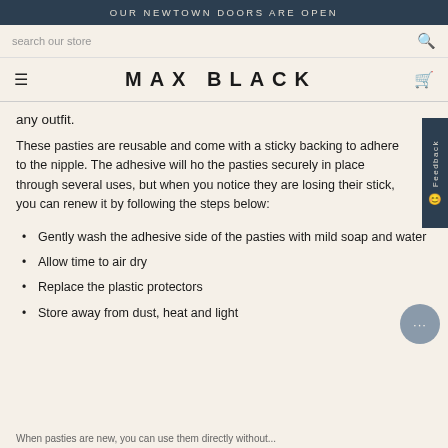OUR NEWTOWN DOORS ARE OPEN
search our store
MAX BLACK
any outfit.
These pasties are reusable and come with a sticky backing to adhere to the nipple. The adhesive will hold the pasties securely in place through several uses, but when you notice they are losing their stick, you can renew it by following the steps below:
Gently wash the adhesive side of the pasties with mild soap and water
Allow time to air dry
Replace the plastic protectors
Store away from dust, heat and light